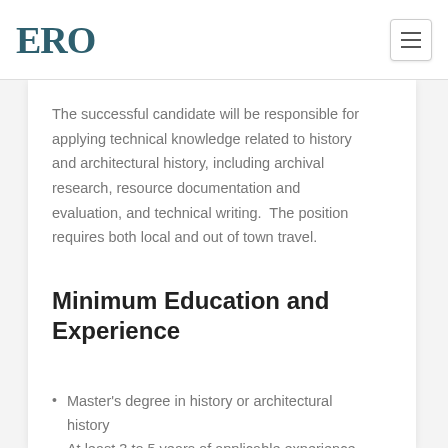ERO
The successful candidate will be responsible for applying technical knowledge related to history and architectural history, including archival research, resource documentation and evaluation, and technical writing.  The position requires both local and out of town travel.
Minimum Education and Experience
Master's degree in history or architectural history
At least 3 to 5 years of applicable experience